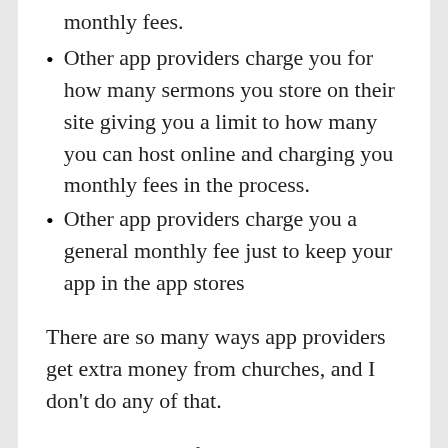monthly fees.
Other app providers charge you for how many sermons you store on their site giving you a limit to how many you can host online and charging you monthly fees in the process.
Other app providers charge you a general monthly fee just to keep your app in the app stores
There are so many ways app providers get extra money from churches, and I don't do any of that.
With me, once I finish your app, that app belongs to you, and that's it. Moreover, I develop my app